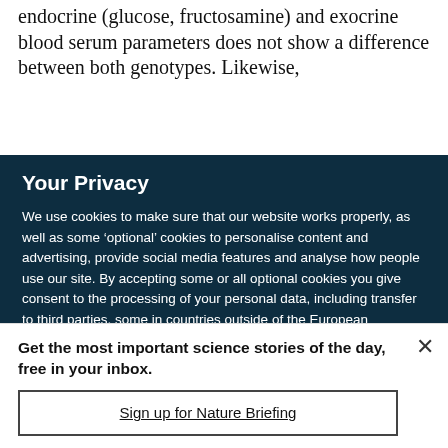endocrine (glucose, fructosamine) and exocrine blood serum parameters does not show a difference between both genotypes. Likewise,
Your Privacy
We use cookies to make sure that our website works properly, as well as some ‘optional’ cookies to personalise content and advertising, provide social media features and analyse how people use our site. By accepting some or all optional cookies you give consent to the processing of your personal data, including transfer to third parties, some in countries outside of the European Economic Area that do not offer the same data protection standards as the country where you live. You can decide which optional cookies to accept by clicking on ‘Manage Settings’, where you can
Get the most important science stories of the day, free in your inbox.
Sign up for Nature Briefing